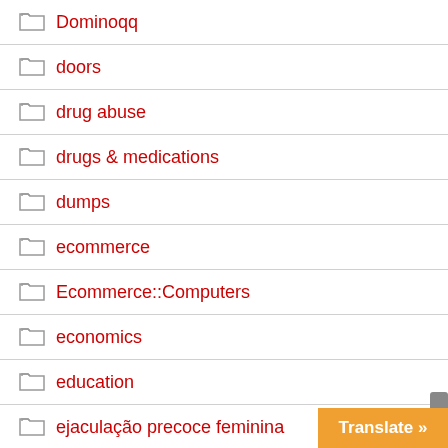Dominoqq
doors
drug abuse
drugs & medications
dumps
ecommerce
Ecommerce::Computers
economics
education
ejaculação precoce feminina